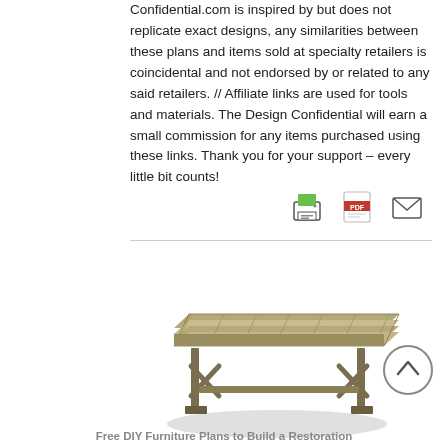Confidential.com is inspired by but does not replicate exact designs, any similarities between these plans and items sold at specialty retailers is coincidental and not endorsed by or related to any said retailers. // Affiliate links are used for tools and materials. The Design Confidential will earn a small commission for any items purchased using these links. Thank you for your support – every little bit counts!
[Figure (illustration): 3D rendering of a wooden farmhouse/restoration style coffee table or dining bench with plank top and crossed leg supports, shown in perspective view with shadow.]
Free DIY Furniture Plans to Build a Restoration